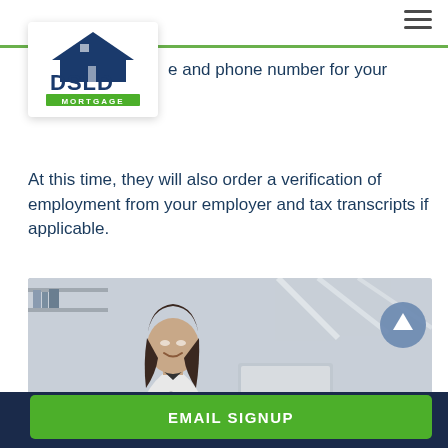[Figure (logo): DSLD Mortgage logo — house outline above letters DSLD in dark blue, with green bar below reading MORTGAGE]
e and phone number for your insurance etc.
At this time, they will also order a verification of employment from your employer and tax transcripts if applicable.
[Figure (photo): Woman with dark hair in white blazer smiling while typing on a laptop in a bright modern office]
EMAIL SIGNUP